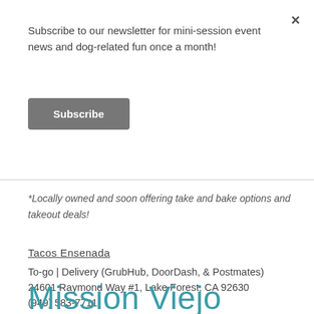×
Subscribe to our newsletter for mini-session event news and dog-related fun once a month!
Subscribe
*Locally owned and soon offering take and bake options and takeout deals!
Tacos Ensenada
To-go | Delivery (GrubHub, DoorDash, & Postmates)
24601 Raymond Way #1, Lake Forest, CA 92630
(949) 583-7711
Mission Viejo